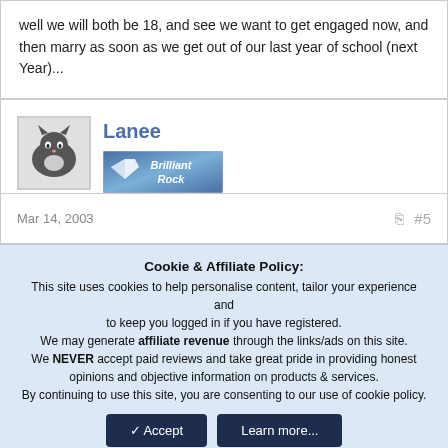well we will both be 18, and see we want to get engaged now, and then marry as soon as we get out of our last year of school (next Year)...
Lanee
[Figure (illustration): User avatar showing a cat, and a 'Brilliant Rock' badge image]
Mar 14, 2003  #5
Cookie & Affiliate Policy: This site uses cookies to help personalise content, tailor your experience and to keep you logged in if you have registered. We may generate affiliate revenue through the links/ads on this site. We NEVER accept paid reviews and take great pride in providing honest opinions and objective information on products & services. By continuing to use this site, you are consenting to our use of cookie policy.